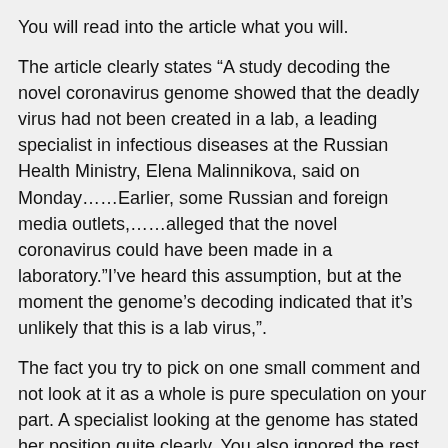You will read into the article what you will.
The article clearly states “A study decoding the novel coronavirus genome showed that the deadly virus had not been created in a lab, a leading specialist in infectious diseases at the Russian Health Ministry, Elena Malinnikova, said on Monday……Earlier, some Russian and foreign media outlets,……alleged that the novel coronavirus could have been made in a laboratory.”I’ve heard this assumption, but at the moment the genome’s decoding indicated that it’s unlikely that this is a lab virus,”.
The fact you try to pick on one small comment and not look at it as a whole is pure speculation on your part. A specialist looking at the genome has stated her position quite clearly. You also ignored the rest of my comment on how this virus has been weaponized.
Good news also from Russia on the treatment of covid-19:
https://www.rt.com/russia/484364-russian-drug-treatment-covid19/
“Russian specialists believe they have come up with an effective way to treat Covid-19 infection using an anti-malarial drug. They